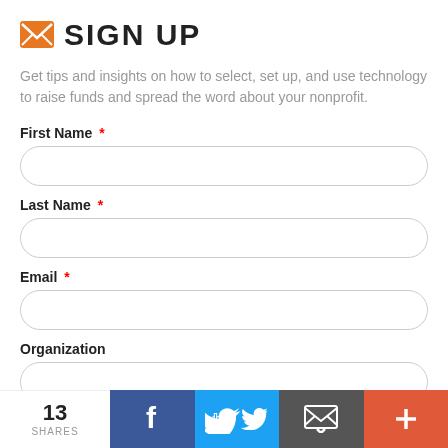SIGN UP
Get tips and insights on how to select, set up, and use technology to raise funds and spread the word about your nonprofit.
First Name *
Last Name *
Email *
Organization
Sign up
13 SHARES  [Facebook] [Twitter] [Email] [More]